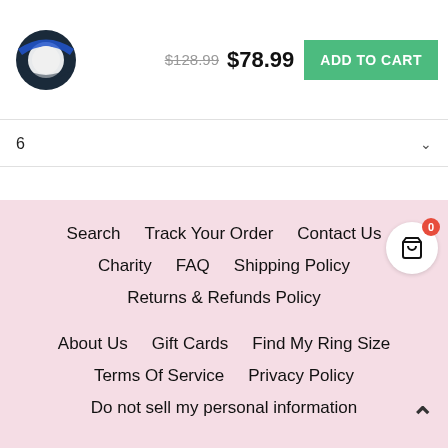[Figure (photo): Blue and black tungsten ring product image thumbnail]
$128.99 $78.99
ADD TO CART
6
Search
Track Your Order
Contact Us
Charity
FAQ
Shipping Policy
Returns & Refunds Policy
About Us
Gift Cards
Find My Ring Size
Terms Of Service
Privacy Policy
Do not sell my personal information